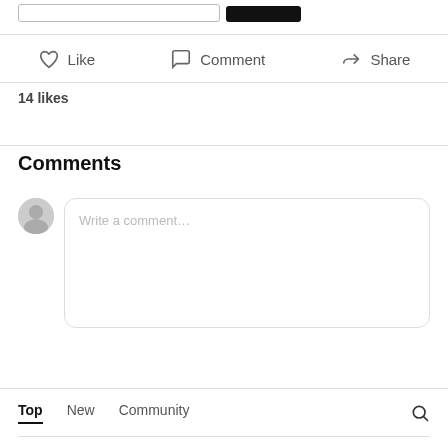[Figure (screenshot): Partial UI showing a text input field and a dark button at the top]
Like   Comment   Share
14 likes
Comments
[Figure (screenshot): Comment input area with avatar and text box placeholder 'Write a comment...']
Top   New   Community